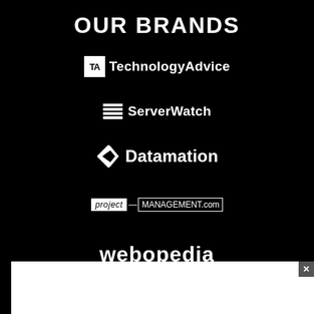OUR BRANDS
[Figure (logo): TechnologyAdvice logo: white square with 'TA' text followed by 'TechnologyAdvice' in white]
[Figure (logo): ServerWatch logo: stacked lines icon followed by 'ServerWatch' in white]
[Figure (logo): Datamation logo: stylized 'D' arrow shape followed by 'Datamation' in white]
[Figure (logo): project-MANAGEMENT.com logo: white box with 'project' and dash above bordered 'MANAGEMENT.com' text]
[Figure (logo): webopedia logo in bold white lowercase text]